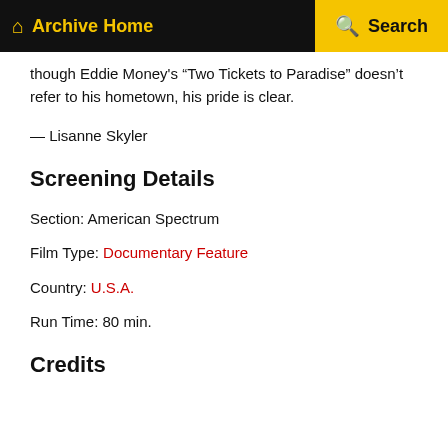Archive Home   Search
though Eddie Money's “Two Tickets to Paradise” doesn’t refer to his hometown, his pride is clear.
— Lisanne Skyler
Screening Details
Section: American Spectrum
Film Type: Documentary Feature
Country: U.S.A.
Run Time: 80 min.
Credits